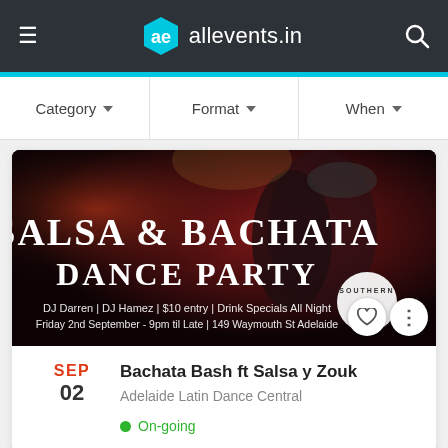allevents.in
Category ▼   Format ▼   When ▼
[Figure (photo): Event promotional banner for Salsa & Bachata Dance Party with couple dancing in a dark red-lit venue. Text reads: SALSA & BACHATA DANCE PARTY. DJ Darren | DJ Hamez | $10 entry | Drink Specials All Night. Friday 2nd September - 9pm til Late | 149 Waymouth St Adelaide. Southern logo badge visible.]
SEP
02
Bachata Bash ft Salsa y Zouk
Adelaide Latin Dance Central
On-going